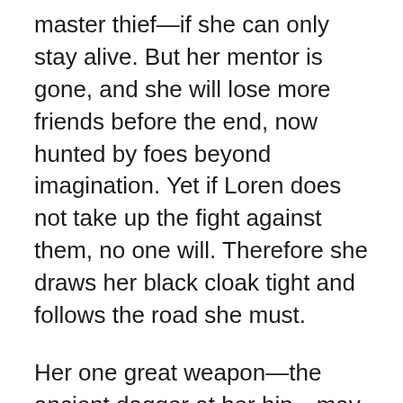master thief—if she can only stay alive. But her mentor is gone, and she will lose more friends before the end, now hunted by foes beyond imagination. Yet if Loren does not take up the fight against them, no one will. Therefore she draws her black cloak tight and follows the road she must.
Her one great weapon—the ancient dagger at her hip—may yet prove to be her salvation. But even that power seems overshadowed by the threat looming over all nine kingdoms. And even with the High King at her back, Loren is not sure whether she is up to the task.